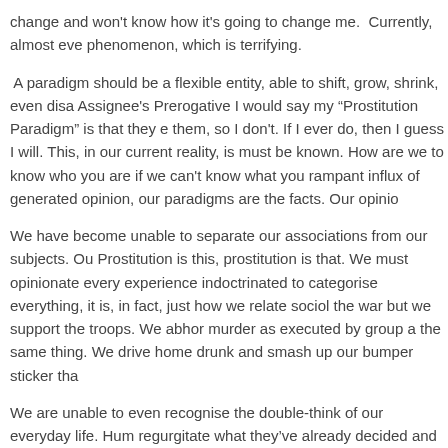change and won't know how it's going to change me.  Currently, almost eve phenomenon, which is terrifying.
A paradigm should be a flexible entity, able to shift, grow, shrink, even disa Assignee's Prerogative I would say my "Prostitution Paradigm" is that they e them, so I don't. If I ever do, then I guess I will. This, in our current reality, is must be known. How are we to know who you are if we can't know what you rampant influx of generated opinion, our paradigms are the facts. Our opinio
We have become unable to separate our associations from our subjects. Ou Prostitution is this, prostitution is that. We must opinionate every experience indoctrinated to categorise everything, it is, in fact, just how we relate sociol the war but we support the troops. We abhor murder as executed by group a the same thing. We drive home drunk and smash up our bumper sticker tha
We are unable to even recognise the double-think of our everyday life. Hum regurgitate what they've already decided and they're more than happy to ba contemplating the "why." It doesn't have to continue this way...
Honestly, that little word "why" is the key. Asking why leads to the places op